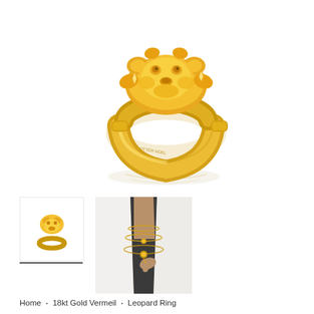[Figure (photo): Large product photo of a gold leopard ring (18kt gold vermeil) on white background, shown from above at an angle. The ring features a sculptural animal head design with textured details and a polished gold band.]
[Figure (photo): Small thumbnail image of the same gold leopard ring product, shown smaller on white background.]
[Figure (photo): Thumbnail lifestyle photo showing a person wearing layered gold necklaces, wearing a white blazer and dark top.]
Home • 18kt Gold Vermeil • Leopard Ring